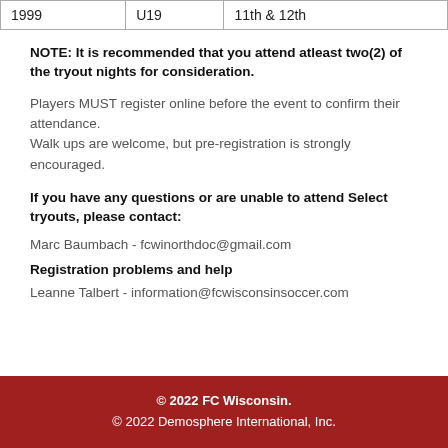| 1999 | U19 | 11th & 12th |
NOTE: It is recommended that you attend atleast two(2) of the tryout nights for consideration.
Players MUST register online before the event to confirm their attendance.
Walk ups are welcome, but pre-registration is strongly encouraged.
If you have any questions or are unable to attend Select tryouts, please contact:
Marc Baumbach - fcwinorthdoc@gmail.com
Registration problems and help
Leanne Talbert - information@fcwisconsinsoccer.com
© 2022 FC Wisconsin.
© 2022 Demosphere International, Inc.